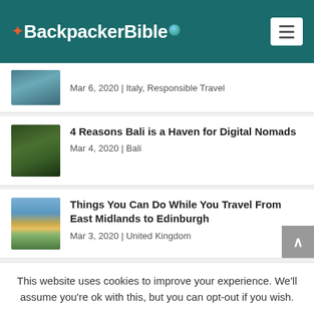Backpacker Bible
Mar 6, 2020 | Italy, Responsible Travel
4 Reasons Bali is a Haven for Digital Nomads — Mar 4, 2020 | Bali
Things You Can Do While You Travel From East Midlands to Edinburgh — Mar 3, 2020 | United Kingdom
This website uses cookies to improve your experience. We'll assume you're ok with this, but you can opt-out if you wish.